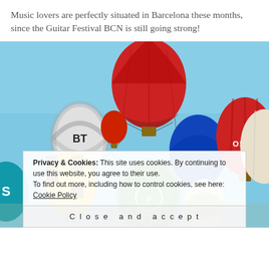Music lovers are perfectly situated in Barcelona these months, since the Guitar Festival BCN is still going strong!
[Figure (photo): A bright blue sky filled with many colorful hot air balloons. Balloons include a large red one at center-top, a white 'BT' branded balloon, a blue balloon, a red 'OSSA' branded balloon, a green balloon, yellow-checkered balloons, and others. A cookie consent banner overlays the bottom portion.]
Privacy & Cookies: This site uses cookies. By continuing to use this website, you agree to their use.
To find out more, including how to control cookies, see here: Cookie Policy
Close and accept